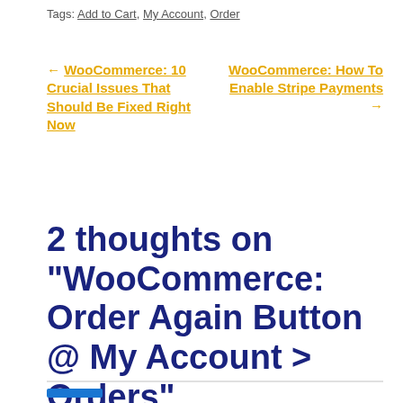Tags: Add to Cart, My Account, Order
← WooCommerce: 10 Crucial Issues That Should Be Fixed Right Now
WooCommerce: How To Enable Stripe Payments →
2 thoughts on "WooCommerce: Order Again Button @ My Account > Orders"